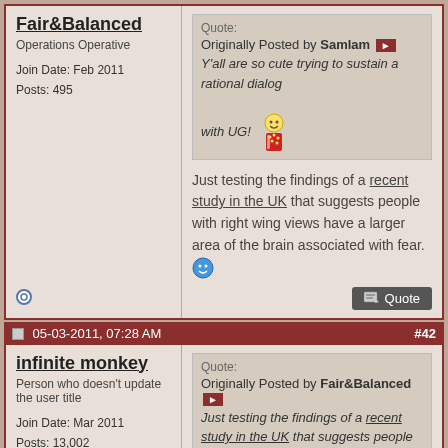Fair&Balanced
Operations Operative
Join Date: Feb 2011
Posts: 495
Quote:
Originally Posted by Samlam
Y'all are so cute trying to sustain a rational dialog with UG!
Just testing the findings of a recent study in the UK that suggests people with right wing views have a larger area of the brain associated with fear.
05-03-2011, 07:28 AM  #42
infinite monkey
Person who doesn't update the user title
Join Date: Mar 2011
Posts: 13,002
Quote:
Originally Posted by Fair&Balanced
Just testing the findings of a recent study in the UK that suggests people with right wing views have a larger area of the brain associated with fear.